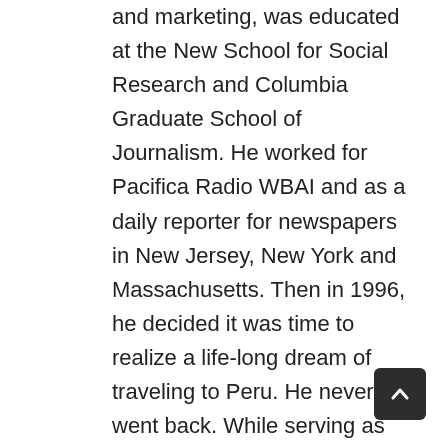and marketing, was educated at the New School for Social Research and Columbia Graduate School of Journalism. He worked for Pacifica Radio WBAI and as a daily reporter for newspapers in New Jersey, New York and Massachusetts. Then in 1996, he decided it was time to realize a life-long dream of traveling to Peru. He never went back. While serving as Peru country manager for the South American Explorers from 1997-1999, he fell in love with Fertur's founder, Siduith Ferrer, and they married. Over the next six years, he worked as a correspondent for The Associated Press. Meanwhile, Siduith built the business, which he joined in January 2007. Now he designs custom educational and adventure tour packages for corporate and institutional clients, oversees Fertur's Internet platform and occasionally leads special trips, always with an eye open for a good